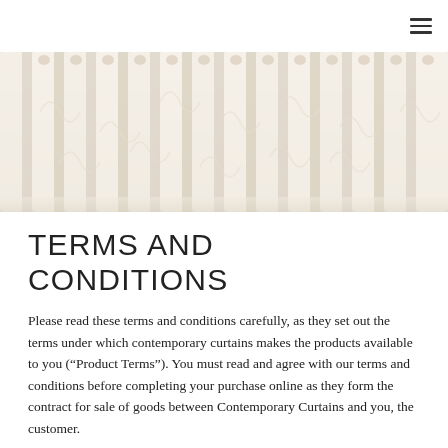[Figure (photo): Close-up photo of white curtains with pleated folds hanging on a rod, showing textured fabric with decorative pattern]
TERMS AND CONDITIONS
Please read these terms and conditions carefully, as they set out the terms under which contemporary curtains makes the products available to you (“Product Terms”). You must read and agree with our terms and conditions before completing your purchase online as they form the contract for sale of goods between Contemporary Curtains and you, the customer.